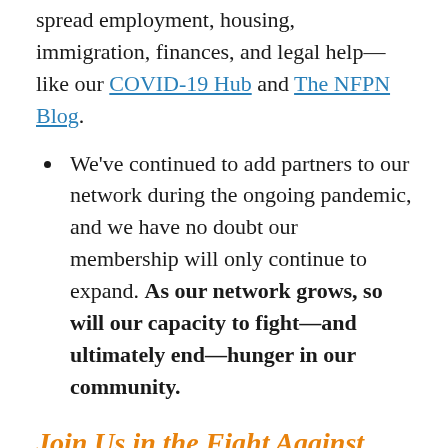spread employment, housing, immigration, finances, and legal help—like our COVID-19 Hub and The NFPN Blog.
We've continued to add partners to our network during the ongoing pandemic, and we have no doubt our membership will only continue to expand. As our network grows, so will our capacity to fight—and ultimately end—hunger in our community.
Join Us in the Fight Against Hunger
If you're a community organization looking to join our network, we encourage you to...